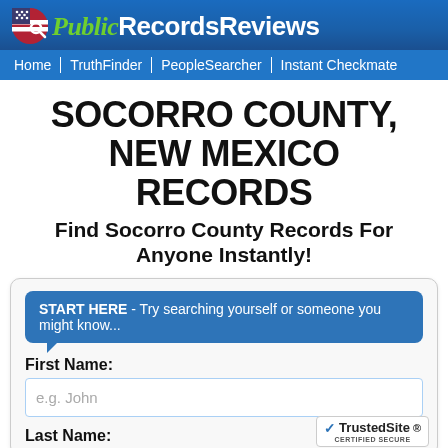PublicRecordsReviews
Home | TruthFinder | PeopleSearcher | Instant Checkmate
SOCORRO COUNTY, NEW MEXICO RECORDS
Find Socorro County Records For Anyone Instantly!
START HERE - Try searching yourself or someone you might know...
First Name:
e.g. John
Last Name: